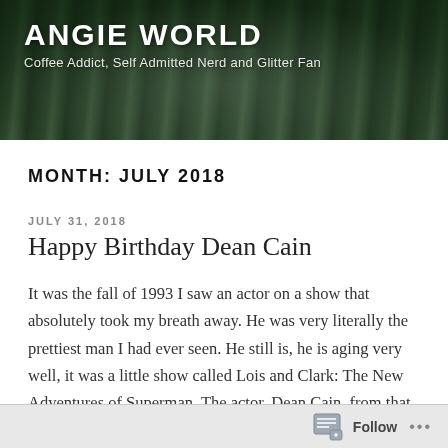ANGIE WORLD
Coffee Addict, Self Admitted Nerd and Glitter Fan
MONTH: JULY 2018
JULY 31, 2018
Happy Birthday Dean Cain
It was the fall of 1993 I saw an actor on a show that absolutely took my breath away. He was very literally the prettiest man I had ever seen. He still is, he is aging very well, it was a little show called Lois and Clark: The New Adventures of Superman. The actor, Dean Cain, from that day forward I said I would never date unless it was he. I
Follow ...